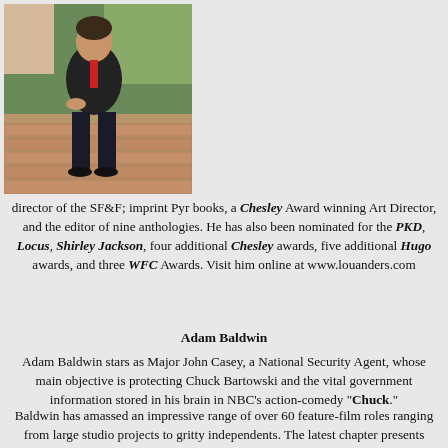[Figure (photo): A man in a dark suit and red tie sitting on brick steps outdoors]
director of the SF&F; imprint Pyr books, a Chesley Award winning Art Director, and the editor of nine anthologies. He has also been nominated for the PKD, Locus, Shirley Jackson, four additional Chesley awards, five additional Hugo awards, and three WFC Awards. Visit him online at www.louanders.com
Adam Baldwin
Adam Baldwin stars as Major John Casey, a National Security Agent, whose main objective is protecting Chuck Bartowski and the vital government information stored in his brain in NBC’s action-comedy "Chuck."
Baldwin has amassed an impressive range of over 60 feature-film roles ranging from large studio projects to gritty independents. The latest chapter presents Baldwin the opportunity of a lifetime when writer-producer Joss Whedon created the sci fi film "Serenity" where Baldwin reprised his role from the TV series "Firefly." As a teenager in Chicago, Baldwin was chosen from among 4,000